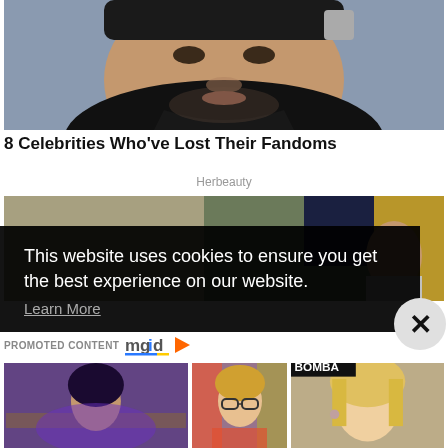[Figure (photo): Close-up photo of a male celebrity with dark hair, wearing a black jacket, against a grey-blue background]
8 Celebrities Who've Lost Their Fandoms
Herbeauty
[Figure (photo): Partial photo of another celebrity figure, partially obscured by cookie consent overlay]
This website uses cookies to ensure you get the best experience on our website.
Learn More
PROMOTED CONTENT mgid
[Figure (photo): Thumbnail of a woman with dark hair in a colorful outfit at an event]
[Figure (photo): Thumbnail of a young woman with glasses in a colorful outfit]
[Figure (photo): Thumbnail of a blonde woman at a Bombay event]